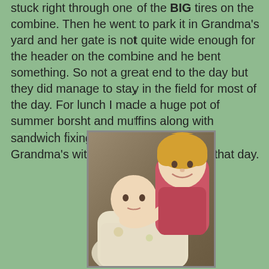stuck right through one of the BIG tires on the combine. Then he went to park it in Grandma's yard and her gate is not quite wide enough for the header on the combine and he bent something. So not a great end to the day but they did manage to stay in the field for most of the day. For lunch I made a huge pot of summer borsht and muffins along with sandwich fixings and hauled it all to Grandma's with three kids. I was tired that day.
[Figure (photo): A toddler girl with blonde hair smiling and holding a newborn baby wrapped in a patterned blanket, sitting on a sofa.]